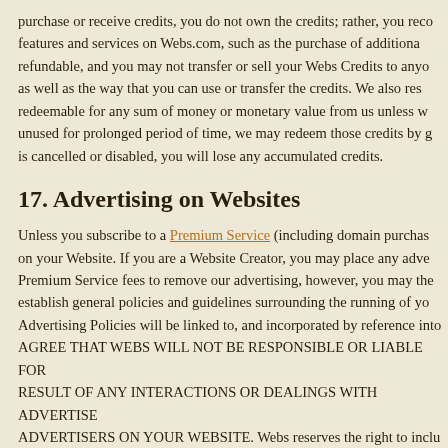purchase or receive credits, you do not own the credits; rather, you receive features and services on Webs.com, such as the purchase of additional refundable, and you may not transfer or sell your Webs Credits to anyone, as well as the way that you can use or transfer the credits. We also res redeemable for any sum of money or monetary value from us unless w unused for prolonged period of time, we may redeem those credits by g is cancelled or disabled, you will lose any accumulated credits.
17. Advertising on Websites
Unless you subscribe to a Premium Service (including domain purchas on your Website. If you are a Website Creator, you may place any adve Premium Service fees to remove our advertising, however, you may the establish general policies and guidelines surrounding the running of yo Advertising Policies will be linked to, and incorporated by reference into AGREE THAT WEBS WILL NOT BE RESPONSIBLE OR LIABLE FOR RESULT OF ANY INTERACTIONS OR DEALINGS WITH ADVERTISE ADVERTISERS ON YOUR WEBSITE. Webs reserves the right to inclu pay the applicable Premium Service fees to remove promotional links. Webs legal notices and links to Webs Terms of Service, Privacy Policy for authentication upon sign in by your Website Members.